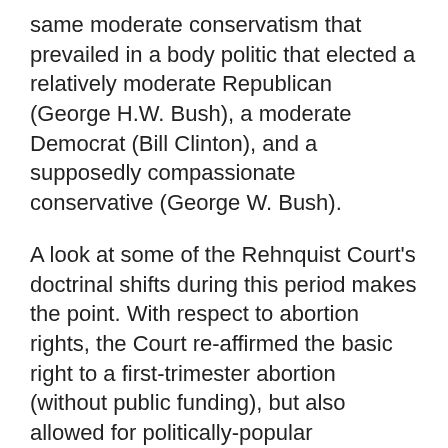same moderate conservatism that prevailed in a body politic that elected a relatively moderate Republican (George H.W. Bush), a moderate Democrat (Bill Clinton), and a supposedly compassionate conservative (George W. Bush).
A look at some of the Rehnquist Court's doctrinal shifts during this period makes the point. With respect to abortion rights, the Court re-affirmed the basic right to a first-trimester abortion (without public funding), but also allowed for politically-popular regulations, like waiting periods and parental consent for minors.
Regarding affirmative action, the Court struck a balance very much in keeping with public sentiment. The justices adopted an increasingly skeptical view of race-based preferences in hiring and education, but stopped short of outlawing such preferences altogether.